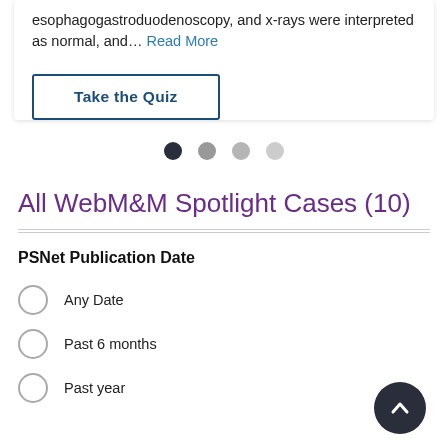esophagogastroduodenoscopy, and x-rays were interpreted as normal, and... Read More
Take the Quiz
[Figure (other): Carousel pagination dots: four dots, first one dark/filled, remaining three progressively lighter gray]
All WebM&M Spotlight Cases (10)
PSNet Publication Date
Any Date
Past 6 months
Past year